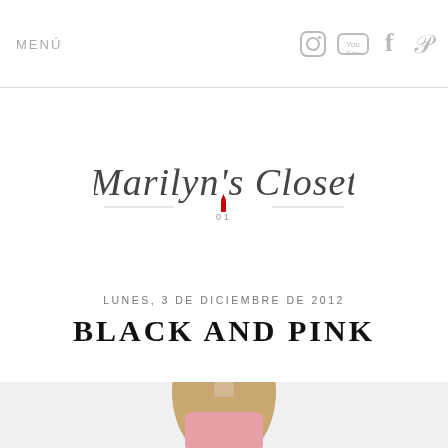MENÚ
[Figure (logo): Marilyn's Closet blog logo in cursive script font with decorative lines]
LUNES, 3 DE DICIEMBRE DE 2012
BLACK AND PINK
[Figure (photo): Young woman with long blonde hair, wearing a pink top, smiling, photographed against a light background]